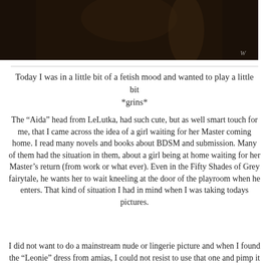[Figure (photo): Dark moody photograph of a woman in fetish/lingerie attire with stockings, in a dim interior setting with candelabra. Watermark visible in bottom right corner.]
Today I was in a little bit of a fetish mood and wanted to play a little bit *grins*
The “Aida” head from LeLutka, had such cute, but as well smart touch for me, that I came across the idea of a girl waiting for her Master coming home. I read many novels and books about BDSM and submission. Many of them had the situation in them, about a girl being at home waiting for her Master’s return (from work or what ever). Even in the Fifty Shades of Grey fairytale, he wants her to wait kneeling at the door of the playroom when he enters. That kind of situation I had in mind when I was taking todays pictures.
I did not want to do a mainstream nude or lingerie picture and when I found the “Leonie” dress from amias, I could not resist to use that one and pimp it